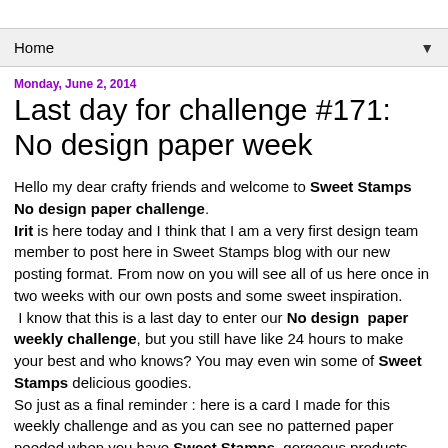Home ▼
Monday, June 2, 2014
Last day for challenge #171: No design paper week
Hello my dear crafty friends and welcome to Sweet Stamps No design paper challenge. Irit is here today and I think that I am a very first design team member to post here in Sweet Stamps blog with our new posting format. From now on you will see all of us here once in two weeks with our own posts and some sweet inspiration. I know that this is a last day to enter our No design paper weekly challenge, but you still have like 24 hours to make your best and who knows? You may even win some of Sweet Stamps delicious goodies. So just as a final reminder : here is a card I made for this weekly challenge and as you can see no patterned paper needed when you have Sweet Stamps gorgeous products